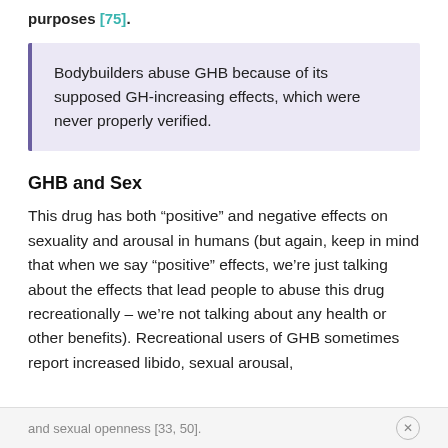purposes [75].
Bodybuilders abuse GHB because of its supposed GH-increasing effects, which were never properly verified.
GHB and Sex
This drug has both “positive” and negative effects on sexuality and arousal in humans (but again, keep in mind that when we say “positive” effects, we’re just talking about the effects that lead people to abuse this drug recreationally – we’re not talking about any health or other benefits). Recreational users of GHB sometimes report increased libido, sexual arousal,
and sexual openness [33, 50].